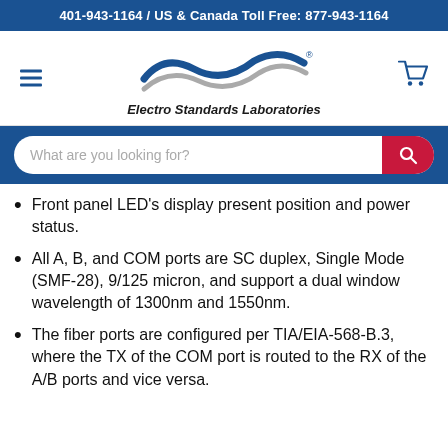401-943-1164 / US & Canada Toll Free: 877-943-1164
[Figure (logo): Electro Standards Laboratories logo with wave graphic and company name]
Front panel LED's display present position and power status.
All A, B, and COM ports are SC duplex, Single Mode (SMF-28), 9/125 micron, and support a dual window wavelength of 1300nm and 1550nm.
The fiber ports are configured per TIA/EIA-568-B.3, where the TX of the COM port is routed to the RX of the A/B ports and vice versa.